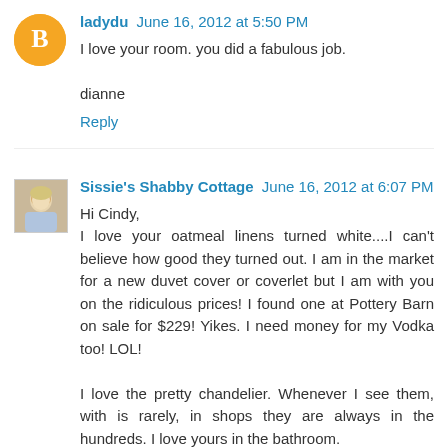ladydu  June 16, 2012 at 5:50 PM
I love your room. you did a fabulous job.

dianne
Reply
Sissie's Shabby Cottage  June 16, 2012 at 6:07 PM
Hi Cindy,
I love your oatmeal linens turned white....I can't believe how good they turned out. I am in the market for a new duvet cover or coverlet but I am with you on the ridiculous prices! I found one at Pottery Barn on sale for $229! Yikes. I need money for my Vodka too! LOL!

I love the pretty chandelier. Whenever I see them, with is rarely, in shops they are always in the hundreds. I love yours in the bathroom.

Have a wonderful weekend!